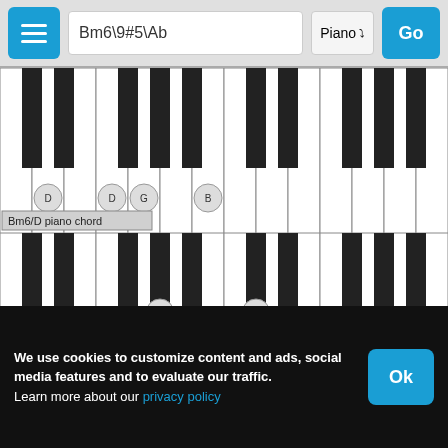Bm6\9#5\Ab
[Figure (illustration): Piano keyboard showing Bm6/D chord with notes D, G, B highlighted]
Bm6/D piano chord
[Figure (illustration): Piano keyboard showing Bm6/G chord with notes Ab, C#, G, B, D highlighted]
Bm6/G piano chord
[Figure (illustration): Piano keyboard showing partial chord with notes Ab, C# highlighted]
We use cookies to customize content and ads, social media features and to evaluate our traffic.
Learn more about our privacy policy